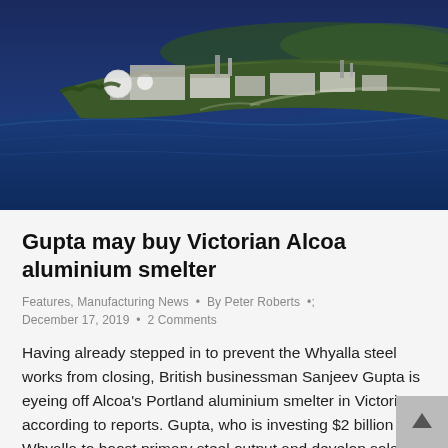[Figure (photo): Aerial photograph of an industrial aluminium smelter facility on a coastal headland, with blue ocean water and green landscape visible. Buildings, storage tanks, and industrial structures are prominent.]
Gupta may buy Victorian Alcoa aluminium smelter
Features, Manufacturing News  •  By Peter Roberts  •  December 17, 2019  •  2 Comments
Having already stepped in to prevent the Whyalla steel works from closing, British businessman Sanjeev Gupta is eyeing off Alcoa's Portland aluminium smelter in Victoria, according to reports. Gupta, who is investing $2 billion in Whyalla to boost primary steel output and develop solar and pumped hydro renewables projects, is considering a move on the